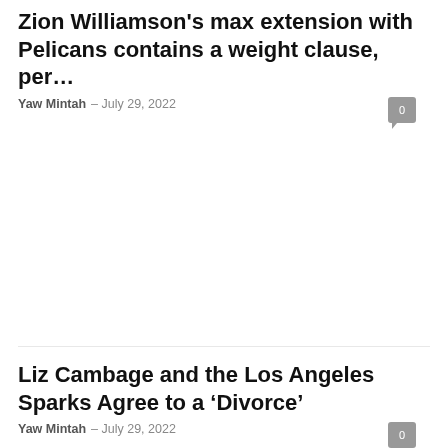Zion Williamson's max extension with Pelicans contains a weight clause, per…
Yaw Mintah - July 29, 2022
Liz Cambage and the Los Angeles Sparks Agree to a 'Divorce'
Yaw Mintah - July 29, 2022